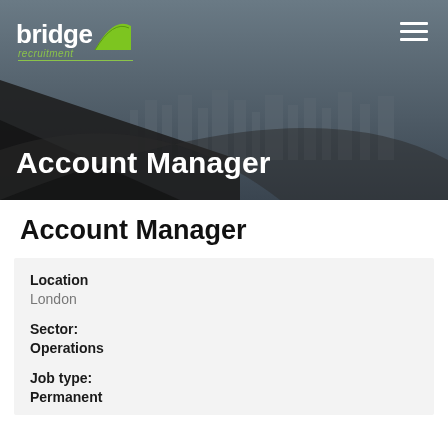[Figure (logo): Bridge Recruitment logo with white text 'bridge', green arch shape, and green italic 'recruitment' underline]
Account Manager
Account Manager
| Location | London |
| Sector: | Operations |
| Job type: | Permanent |